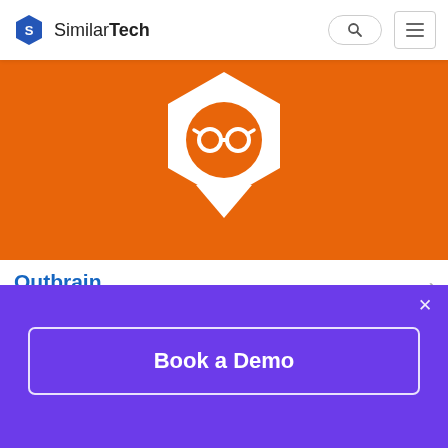SimilarTech
[Figure (logo): Outbrain logo on orange banner background with hexagon shape and glasses icon]
Outbrain
Websites Using Outbrain
Outbrain (www.outbrain.com) is the leading content discovery platform, reaching a highly engaged audience through distribution on top publisher sites, including CNN, Fox News, Hachette Filipacchi Media, Mashable, MSNBC and Slate. Outbrain provides publishers a service for recommended links to increase traffic and generate reve
[Figure (screenshot): Purple overlay banner with Book a Demo button and close X button]